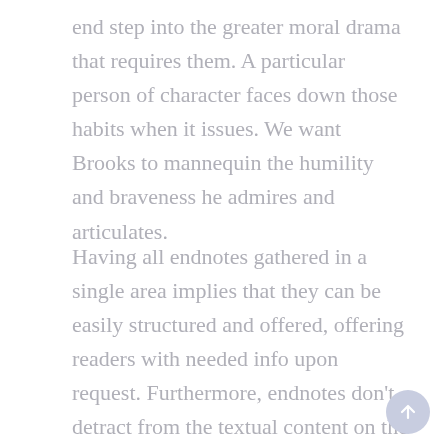end step into the greater moral drama that requires them. A particular person of character faces down those habits when it issues. We want Brooks to mannequin the humility and braveness he admires and articulates.
Having all endnotes gathered in a single area implies that they can be easily structured and offered, offering readers with needed info upon request. Furthermore, endnotes don't detract from the textual content on the page in order that nothing distracts the reader from the material. Their most significant drawback is that readers have to page forwards and backwards between the text and the endnotes to profit from the additional info that the endnotes